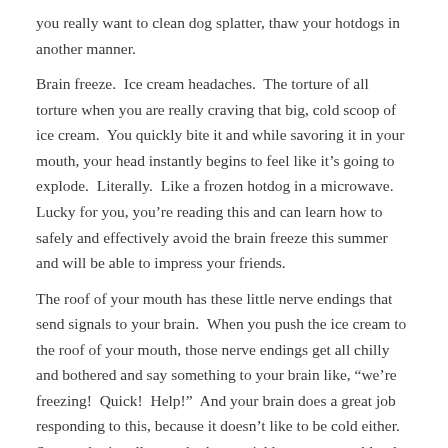you really want to clean dog splatter, thaw your hotdogs in another manner.
Brain freeze.  Ice cream headaches.  The torture of all torture when you are really craving that big, cold scoop of ice cream.  You quickly bite it and while savoring it in your mouth, your head instantly begins to feel like it’s going to explode.  Literally.  Like a frozen hotdog in a microwave.  Lucky for you, you’re reading this and can learn how to safely and effectively avoid the brain freeze this summer and will be able to impress your friends.
The roof of your mouth has these little nerve endings that send signals to your brain.  When you push the ice cream to the roof of your mouth, those nerve endings get all chilly and bothered and say something to your brain like, “we’re freezing!  Quick!  Help!”  And your brain does a great job responding to this, because it doesn’t like to be cold either.  So your brain tells your body to quickly pump extra blood through dilated blood vessels into your head so that your brain can be warmed up again.  The problem is that the rush of blood is painful.  You can easily avoid all of this by simply not letting the ice cream touch the roof of your mouth, or if it does happen, just